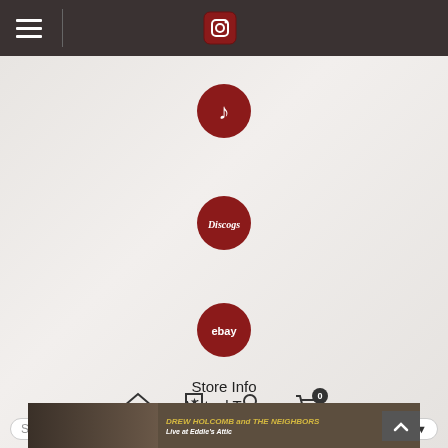Navigation bar with hamburger menu and Instagram icon
[Figure (screenshot): TikTok red circle icon]
[Figure (screenshot): Discogs red circle icon]
[Figure (screenshot): eBay red circle icon]
Store Info
Virtual Tour
[Figure (screenshot): Bottom nav icons: home, bookmark, user, cart with badge 0]
[Figure (screenshot): Search bar with text 'Search Artist/M', magnifier icon, FORMAT dropdown]
[Figure (photo): Album cover strip for Drew Holcomb and The Neighbors - Live at Eddie's Attic]